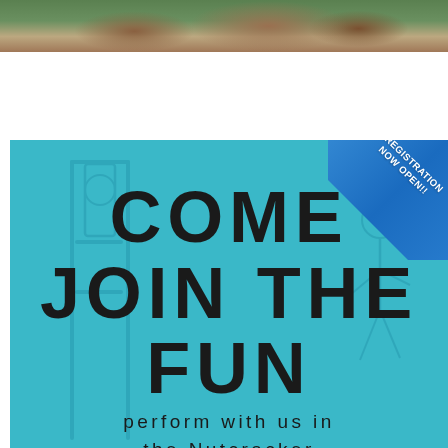[Figure (photo): Aerial photograph of residential houses with trees and green foliage]
[Figure (infographic): Teal/cyan promotional poster with text 'COME JOIN THE FUN - perform with us in the Nutcracker - FALL SEASON August 15, 2022 to January 15, 2023' with a blue diagonal 'REGISTRATION NOW OPEN!!' badge in the top right corner]